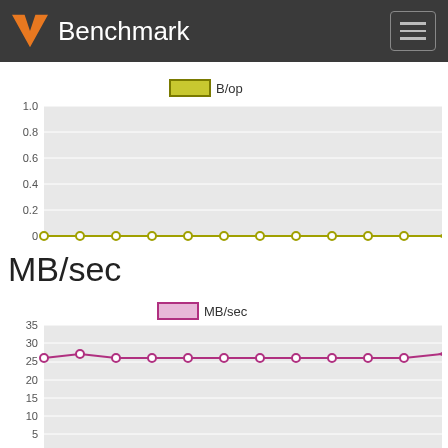Benchmark
[Figure (line-chart): B/op]
MB/sec
[Figure (line-chart): MB/sec]
Allocs/op